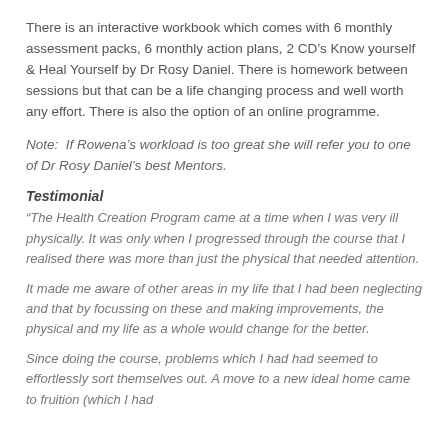There is an interactive workbook which comes with 6 monthly assessment packs, 6 monthly action plans, 2 CD’s Know yourself & Heal Yourself by Dr Rosy Daniel. There is homework between sessions but that can be a life changing process and well worth any effort. There is also the option of an online programme.
Note:  If Rowena’s workload is too great she will refer you to one of Dr Rosy Daniel’s best Mentors.
Testimonial
“The Health Creation Program came at a time when I was very ill physically. It was only when I progressed through the course that I realised there was more than just the physical that needed attention.
It made me aware of other areas in my life that I had been neglecting and that by focussing on these and making improvements, the physical and my life as a whole would change for the better.
Since doing the course, problems which I had had seemed to effortlessly sort themselves out. A move to a new ideal home came to fruition (which I had